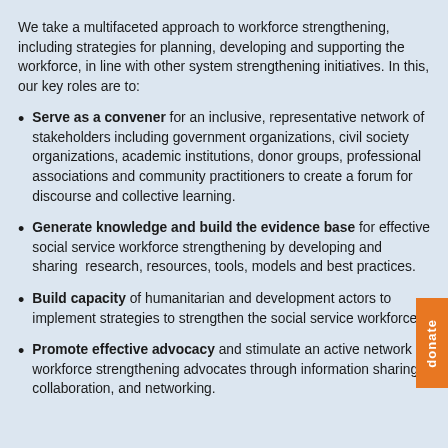We take a multifaceted approach to workforce strengthening, including strategies for planning, developing and supporting the workforce, in line with other system strengthening initiatives. In this, our key roles are to:
Serve as a convener for an inclusive, representative network of stakeholders including government organizations, civil society organizations, academic institutions, donor groups, professional associations and community practitioners to create a forum for discourse and collective learning.
Generate knowledge and build the evidence base for effective social service workforce strengthening by developing and sharing research, resources, tools, models and best practices.
Build capacity of humanitarian and development actors to implement strategies to strengthen the social service workforce.
Promote effective advocacy and stimulate an active network of workforce strengthening advocates through information sharing, collaboration, and networking.